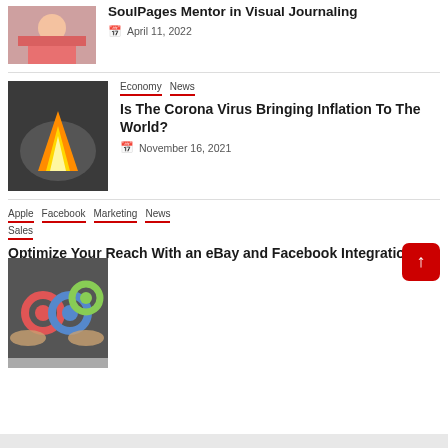[Figure (photo): Girl journaling with colorful supplies]
SoulPages Mentor in Visual Journaling
April 11, 2022
[Figure (photo): Burning US dollar bill with flames]
Economy  News
Is The Corona Virus Bringing Inflation To The World?
November 16, 2021
Apple  Facebook  Marketing  News  Sales
[Figure (photo): Hands holding colorful gear pieces]
Optimize Your Reach With an eBay and Facebook Integration
July 21, 2021